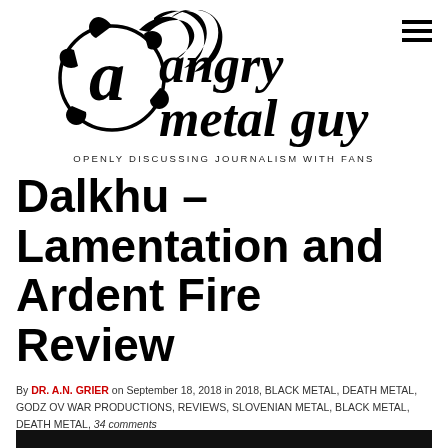[Figure (logo): Angry Metal Guy website logo with decorative black ink illustration of skull and foliage, text reading 'angry metal guy']
OPENLY DISCUSSING JOURNALISM WITH FANS
Dalkhu – Lamentation and Ardent Fire Review
By DR. A.N. GRIER on September 18, 2018 in 2018, BLACK METAL, DEATH METAL, GODZ OV WAR PRODUCTIONS, REVIEWS, SLOVENIAN METAL, BLACK METAL, DEATH METAL, 34 comments
[Figure (photo): Dark/black image strip at bottom of page, appears to be album artwork or band photo]